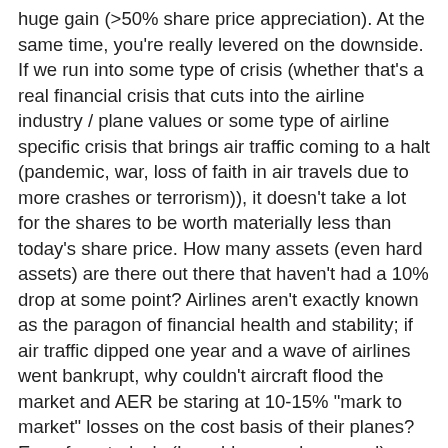huge gain (>50% share price appreciation). At the same time, you're really levered on the downside. If we run into some type of crisis (whether that's a real financial crisis that cuts into the airline industry / plane values or some type of airline specific crisis that brings air traffic coming to a halt (pandemic, war, loss of faith in air travels due to more crashes or terrorism)), it doesn't take a lot for the shares to be worth materially less than today's share price. How many assets (even hard assets) are there out there that haven't had a 10% drop at some point? Airlines aren't exactly known as the paragon of financial health and stability; if air traffic dipped one year and a wave of airlines went bankrupt, why couldn't aircraft flood the market and AER be staring at 10-15% "mark to market" losses on the cost basis of their planes? Even from today's (I would argue depressed) share prices, moving from a 5% discount to a 15% discount would knock the stock of in shares to over $34! – but this is isn't